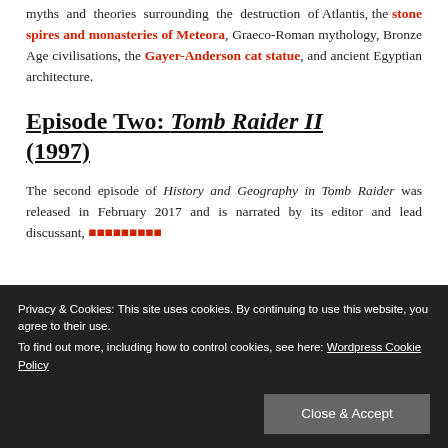myths and theories surrounding the destruction of Atlantis, the stone spires and monasteries of Meteora, Graeco-Roman mythology, Bronze Age civilisations, the Gayer-Anderson cat statue, and ancient Egyptian architecture.
Episode Two: Tomb Raider II (1997)
The second episode of History and Geography in Tomb Raider was released in February 2017 and is narrated by its editor and lead discussant,
Privacy & Cookies: This site uses cookies. By continuing to use this website, you agree to their use. To find out more, including how to control cookies, see here: Wordpress Cookie Policy
Close & Accept